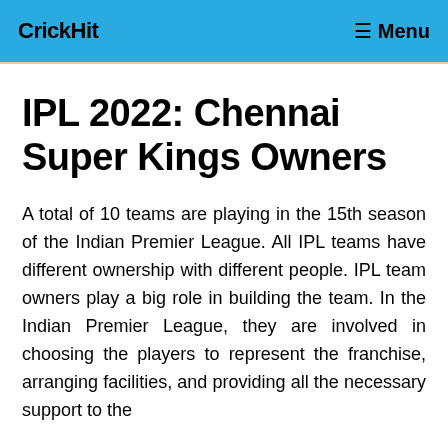CrickHit   ☰ Menu
IPL 2022: Chennai Super Kings Owners
A total of 10 teams are playing in the 15th season of the Indian Premier League. All IPL teams have different ownership with different people. IPL team owners play a big role in building the team. In the Indian Premier League, they are involved in choosing the players to represent the franchise, arranging facilities, and providing all the necessary support to the...